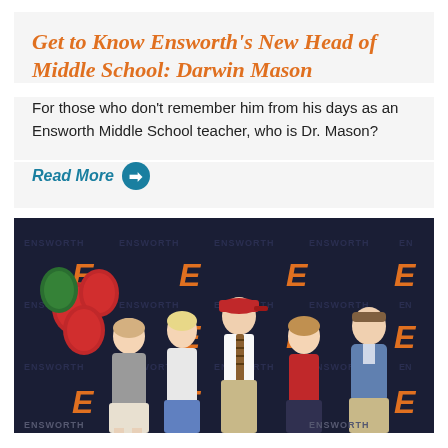Get to Know Ensworth's New Head of Middle School: Darwin Mason
For those who don't remember him from his days as an Ensworth Middle School teacher, who is Dr. Mason?
Read More →
[Figure (photo): Group photo of five people standing in front of an Ensworth branded backdrop with orange E logos and 'Ensworth' text repeated. Red and green balloons are visible on the left. The group includes adults and children, one wearing a red cap and striped tie, another in a red athletic shirt.]